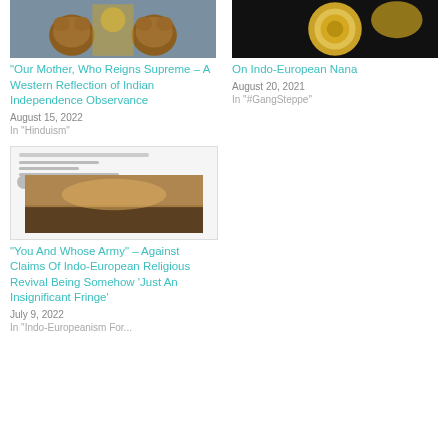[Figure (photo): Two roaring bear statues with ornate golden gate behind them]
“Our Mother, Who Reigns Supreme – A Western Reflection of Indian Independence Observance
August 15, 2022
In “Hinduism”
[Figure (photo): Gold ornate tuba or brass instrument with decorative engravings]
On Indo-European Nana
August 20, 2021
In “#GangSteppe”
[Figure (screenshot): Screenshot of a tweet showing a landscape image resembling a steppe or plains at sunset]
“You And Whose Army” – Against Claims Of Indo-European Religious Revival Being Somehow ‘Just An Insignificant Fringe’
July 9, 2022
In “Indo-Europeanism For...